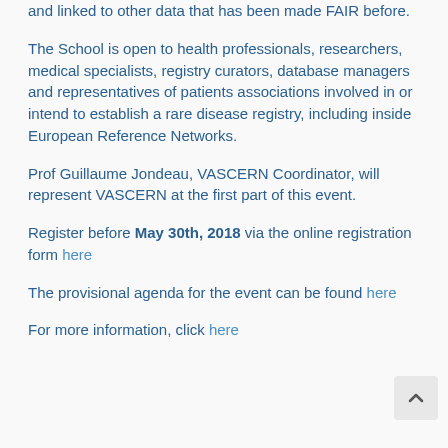and linked to other data that has been made FAIR before.
The School is open to health professionals, researchers, medical specialists, registry curators, database managers and representatives of patients associations involved in or intend to establish a rare disease registry, including inside European Reference Networks.
Prof Guillaume Jondeau, VASCERN Coordinator, will represent VASCERN at the first part of this event.
Register before May 30th, 2018 via the online registration form here
The provisional agenda for the event can be found here
For more information, click here